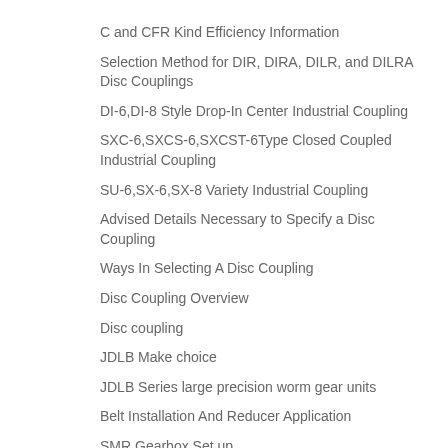C and CFR Kind Efficiency Information
Selection Method for DIR, DIRA, DILR, and DILRA Disc Couplings
DI-6,DI-8 Style Drop-In Center Industrial Coupling
SXC-6,SXCS-6,SXCST-6Type Closed Coupled Industrial Coupling
SU-6,SX-6,SX-8 Variety Industrial Coupling
Advised Details Necessary to Specify a Disc Coupling
Ways In Selecting A Disc Coupling
Disc Coupling Overview
Disc coupling
JDLB Make choice
JDLB Series large precision worm gear units
Belt Installation And Reducer Application
SMR Gearbox Set up